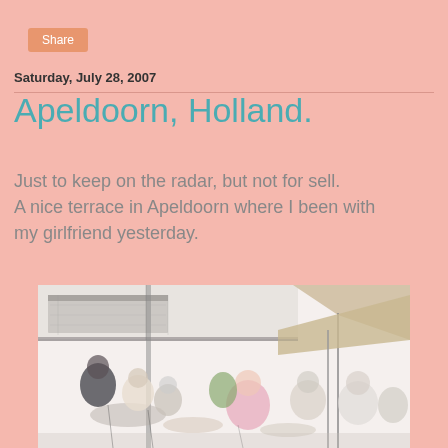Share
Saturday, July 28, 2007
Apeldoorn, Holland.
Just to keep on the radar, but not for sell. A nice terrace in Apeldoorn where I been with my girlfriend yesterday.
[Figure (illustration): Watercolor sketch of a terrace cafe scene in Apeldoorn with people sitting at tables, umbrellas, and a building facade in the background]